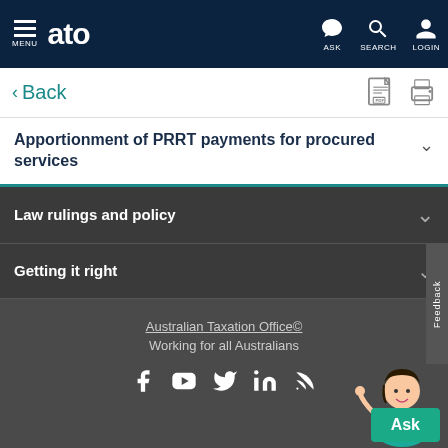MENU | ato | ASK | SEARCH | LOGIN
< Back
Apportionment of PRRT payments for procured services
Law rulings and policy
Getting it right
Australian Taxation Office© Working for all Australians